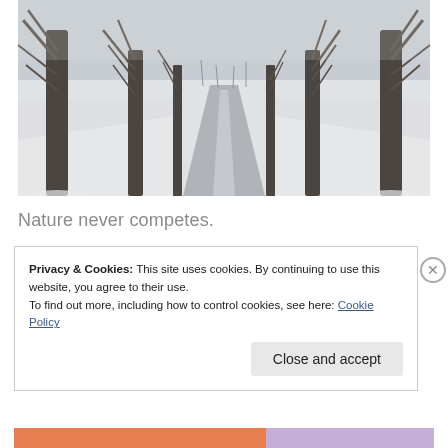[Figure (photo): A snow-covered tree-lined road or path receding into the foggy distance. Bare frost-covered deciduous trees line both sides of the road. The ground is blanketed in white snow. Black and white / muted tones.]
Nature never competes.
Privacy & Cookies: This site uses cookies. By continuing to use this website, you agree to their use.
To find out more, including how to control cookies, see here: Cookie Policy
Close and accept